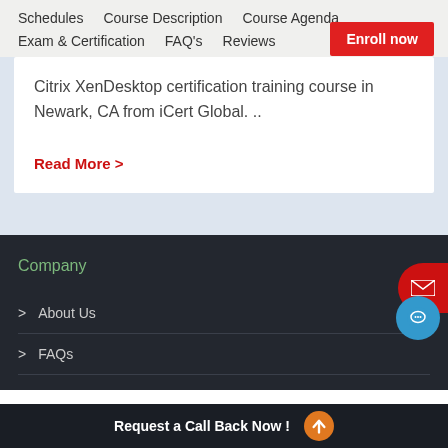Schedules   Course Description   Course Agenda   Exam & Certification   FAQ's   Reviews   Enroll now
Citrix XenDesktop certification training course in Newark, CA from iCert Global. ..
Read More >
Company
> About Us
> FAQs
Request a Call Back Now !